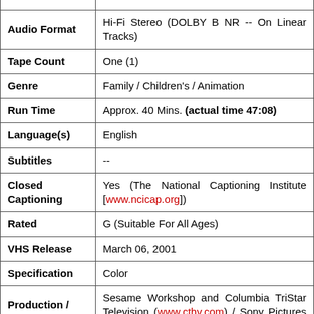| Field | Value |
| --- | --- |
| Audio Format | Hi-Fi Stereo (DOLBY B NR -- On Linear Tracks) |
| Tape Count | One (1) |
| Genre | Family / Children's / Animation |
| Run Time | Approx. 40 Mins. (actual time 47:08) |
| Language(s) | English |
| Subtitles | -- |
| Closed Captioning | Yes (The National Captioning Institute [www.ncicap.org]) |
| Rated | G (Suitable For All Ages) |
| VHS Release | March 06, 2001 |
| Specification | Color |
| Production / Company | Sesame Workshop and Columbia TriStar Television (www.cthv.com) / Sony Pictures Family Entertainment Group |
| Product / | #06332 |